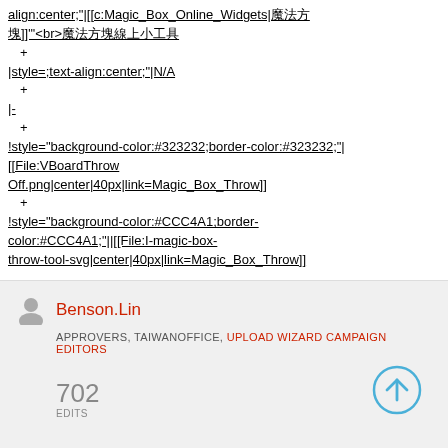align:center;"[[c:Magic_Box_Online_Widgets|魔法方塊]]"'<br>魔法方塊線上小工具
+
|style=;text-align:center;"|N/A
+
|-
+
!style="background-color:#323232;border-color:#323232;"| [[File:VBoardThrow Off.png|center|40px|link=Magic_Box_Throw]]
+
!style="background-color:#CCC4A1;border-color:#CCC4A1;"[[File:I-magic-box-throw-tool-svg|center|40px|link=Magic_Box_Throw]]
Benson.Lin
APPROVERS, TAIWANOFFICE, UPLOAD WIZARD CAMPAIGN EDITORS
702 EDITS